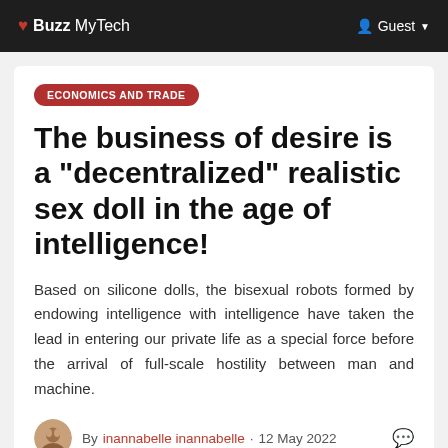♥ Buzz MyTech   Guest
ECONOMICS AND TRADE
The business of desire is a "decentralized" realistic sex doll in the age of intelligence!
Based on silicone dolls, the bisexual robots formed by endowing intelligence with intelligence have taken the lead in entering our private life as a special force before the arrival of full-scale hostility between man and machine.
By inannabelle inannabelle · 12 May 2022